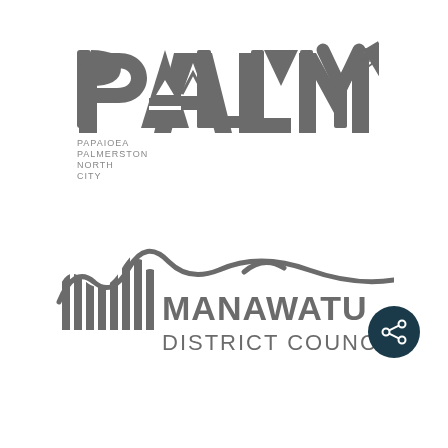[Figure (logo): PALMY logo with text 'PAPAIOEA PALMERSTON NORTH CITY' below — grey stylized text with a mountain/tent shape inside the letter A, with TM symbol]
[Figure (logo): Manawatu District Council logo — grey stylized graphic of vertical lines and mountain/wave silhouette, with bold text MANAWATU DISTRICT COUNCIL]
[Figure (other): Dark teal circular share button with a share/network icon in white]